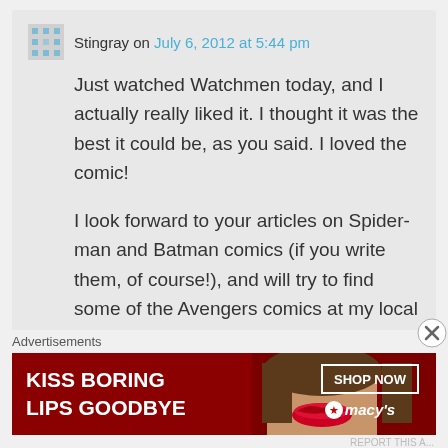Stingray on July 6, 2012 at 5:44 pm
Just watched Watchmen today, and I actually really liked it. I thought it was the best it could be, as you said. I loved the comic!

I look forward to your articles on Spider-man and Batman comics (if you write them, of course!), and will try to find some of the Avengers comics at my local library!
Advertisements
[Figure (infographic): Advertisement banner for Macy's: red background with a woman's face showing red lips, text 'KISS BORING LIPS GOODBYE', 'SHOP NOW' button, and Macy's star logo]